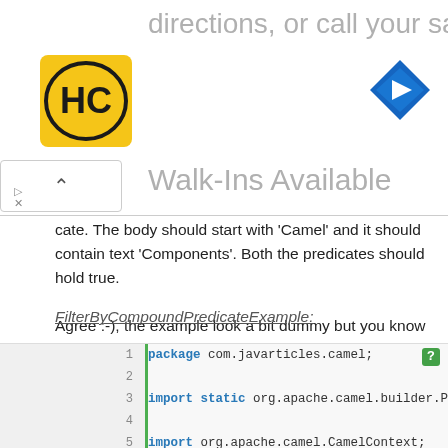[Figure (other): Advertisement banner with HC salon logo, navigation icon, 'directions, or call your salon!' text, 'Walk-Ins Available' subtitle, and close/dismiss controls]
cate. The body should start with 'Camel' and it should contain text 'Components'. Both the predicates should hold true. Agree :-), the example look a bit dummy but you know now how to use the compound predicates:-)
FilterByCompoundPredicateExample:
[Figure (screenshot): Java code block showing package com.javarticles.camel; imports of static org.apache.camel.builder.Predic, org.apache.camel.CamelContext, org.apache.camel.ProducerTemplate, org.apache.camel.builder.RouteBuilder, org.apache.camel.impl.DefaultCamelCont, org.apache.camel.impl.DefaultProducerT, and public class FilterByCompoundPredicateExample with public static void main(String[] args) th and CamelContext camelContext = new Defa]